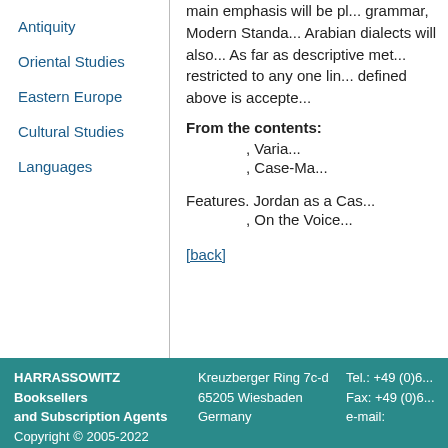Antiquity
Oriental Studies
Eastern Europe
Cultural Studies
Languages
main emphasis will be pl... grammar, Modern Standa... Arabian dialects will also... As far as descriptive met... restricted to any one lin... defined above is accepte...
From the contents:
, Varia...
, Case-Ma...
Features. Jordan as a Cas...
, On the Voice...
[back]
HARRASSOWITZ Booksellers and Subscription Agents Copyright © 2005-2022 | Kreuzberger Ring 7c-d 65205 Wiesbaden Germany | Tel.: +49 (0)6... Fax: +49 (0)6... e-mail: